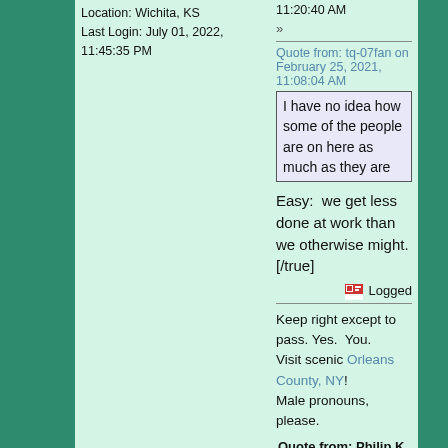Location: Wichita, KS
Last Login: July 01, 2022, 11:45:35 PM
11:20:40 AM
»
Quote from: tq-07fan on February 25, 2021, 11:08:04 AM
I have no idea how some of the people are on here as much as they are
Easy:  we get less done at work than we otherwise might. [/true]
Logged
Keep right except to pass. Yes.  You.
Visit scenic Orleans County, NY!
Male pronouns, please.
Quote from: Philip K. Dick
If you can control the meaning of words, you can control the people who must use them.